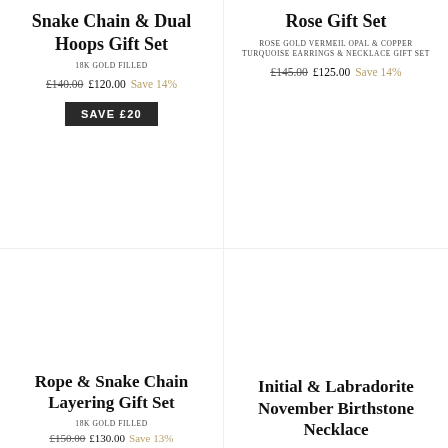Snake Chain & Dual Hoops Gift Set
18K GOLD FILLED
£140.00  £120.00  Save 14%
SAVE £20
Rose Gift Set
ROSE GOLD VERMEIL OPAL & COPPER TURQUOISE EARRINGS & NECKLACE GIFT SET
£145.00  £125.00  Save 14%
Rope & Snake Chain Layering Gift Set
18K GOLD FILLED
£150.00  £130.00  Save 13%
Initial & Labradorite November Birthstone Necklace